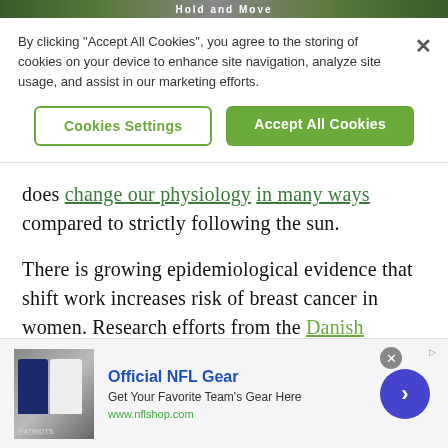[Figure (screenshot): Top banner image with text 'Hold and Move' on dark background]
By clicking "Accept All Cookies", you agree to the storing of cookies on your device to enhance site navigation, analyze site usage, and assist in our marketing efforts.
Cookies Settings | Accept All Cookies
does change our physiology in many ways compared to strictly following the sun.
There is growing epidemiological evidence that shift work increases risk of breast cancer in women. Research efforts from the Danish Cancer Society and the Nurses Health Study were among the first to appear, with many more reported since then, and
[Figure (screenshot): Advertisement banner for Official NFL Gear showing football jerseys with text 'Get Your Favorite Team's Gear Here' and url www.nflshop.com]